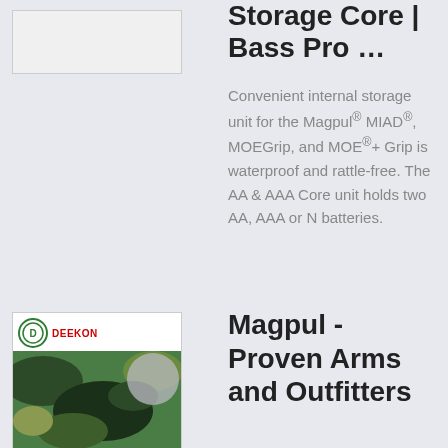[Figure (photo): Product image placeholder (white/light gray box) for a storage core product]
Storage Core | Bass Pro …
Convenient internal storage unit for the Magpul® MIAD®, MOEGrip, and MOE®+ Grip is waterproof and rattle-free. The AA & AAA Core unit holds two AA, AAA or N batteries.
[Figure (photo): Deekon brand product image showing camouflage fabric with green/dark camo pattern and a gray circle swatch in upper right]
Magpul - Proven Arms and Outfitters